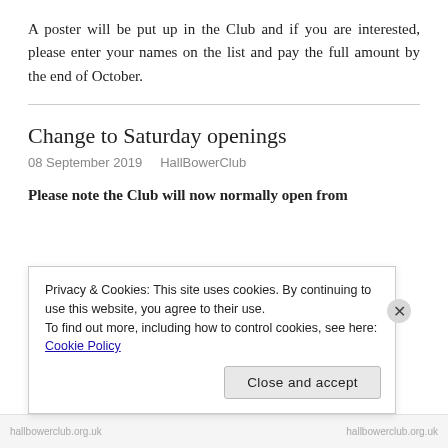A poster will be put up in the Club and if you are interested, please enter your names on the list and pay the full amount by the end of October.
Change to Saturday openings
08 September 2019   HallBowerClub
Please note the Club will now normally open from
Privacy & Cookies: This site uses cookies. By continuing to use this website, you agree to their use.
To find out more, including how to control cookies, see here: Cookie Policy
Close and accept